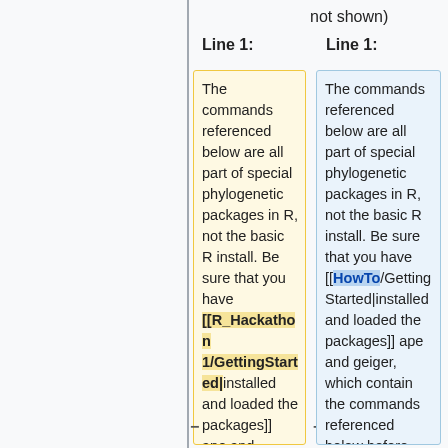not shown)
Line 1:
Line 1:
The commands referenced below are all part of special phylogenetic packages in R, not the basic R install. Be sure that you have [[R_Hackathon 1/GettingStarted|installed and loaded the packages]] ape and geiger, which contain the commands referenced below before
The commands referenced below are all part of special phylogenetic packages in R, not the basic R install. Be sure that you have [[HowTo/Getting Started|installed and loaded the packages]] ape and geiger, which contain the commands referenced below before continuing. For